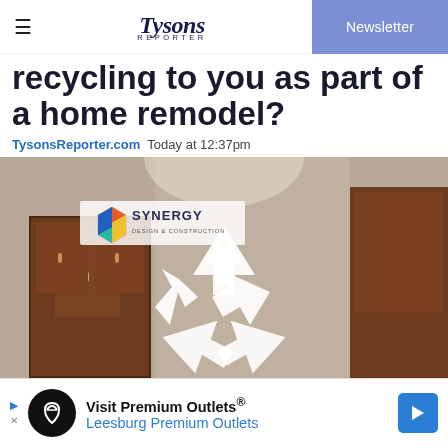Tysons Reporter | Newsletter
recycling to you as part of a home remodel?
TysonsReporter.com  Today at 12:37pm
[Figure (photo): Kitchen interior with wooden cabinets and a recycling symbol overlay, Synergy Design & Construction logo visible in upper left]
Visit Premium Outlets® Leesburg Premium Outlets